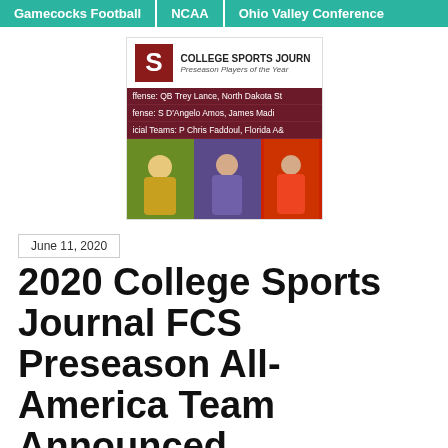Gamecocks Football | NCAA | Ohio Valley Conference
[Figure (illustration): College Sports Journal Preseason Players of the Year box showing header with logo, list entries for Offense: QB Trey Lance North Dakota St, Defense: S D'Angelo Amos James Madison, Special Teams: P Chris Faddoul Florida A&M, and action photos of football players]
June 11, 2020
2020 College Sports Journal FCS Preseason All-America Team Announced
Sixty student-athletes in the NCAA Division I Football's Championship Subdivision have been named to the 2020